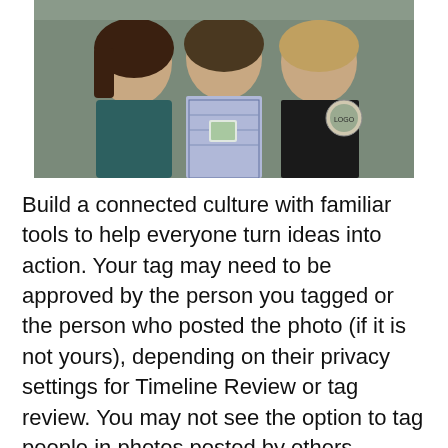[Figure (photo): Three women posing together indoors. The woman on the left wears a teal/dark top. The woman in the middle wears a patterned blue and white dress with a name badge lanyard. The woman on the right wears a black t-shirt with a circular logo patch.]
Build a connected culture with familiar tools to help everyone turn ideas into action. Your tag may need to be approved by the person you tagged or the person who posted the photo (if it is not yours), depending on their privacy settings for Timeline Review or tag review. You may not see the option to tag people in photos posted by others, depending on their audience settings.